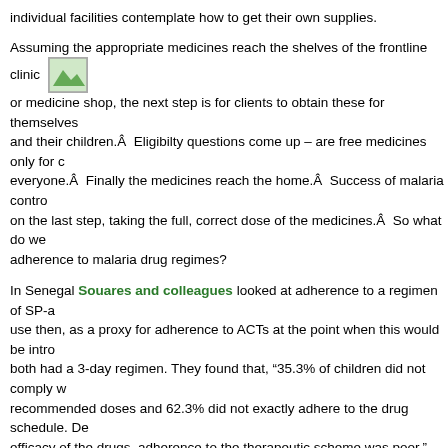individual facilities contemplate how to get their own supplies.
Assuming the appropriate medicines reach the shelves of the frontline clinic or medicine shop, the next step is for clients to obtain these for themselves and their children.Â  Eligibilty questions come up – are free medicines only for c everyone.Â  Finally the medicines reach the home.Â  Success of malaria contro on the last step, taking the full, correct dose of the medicines.Â  So what do we adherence to malaria drug regimes?
In Senegal Souares and colleagues looked at adherence to a regimen of SP-a use then, as a proxy for adherence to ACTs at the point when this would be intro both had a 3-day regimen. They found that, “35.3% of children did not comply w recommended doses and 62.3% did not exactly adhere to the drug schedule. De efficacy of the drugs, adherence to the therapeutic scheme was poor.” Even tho good, they foresaw a time when poor adherence could lead to drug resistance a recommended training of health workers to improve patient-provider communica adherence.
We cannot wait for haphazard adherence to lead to ACT failure. ACT performan needed and should be part of the roll out of any government or donor funded ma program.Â  Importantly, training on these standards must reach the private and i too.